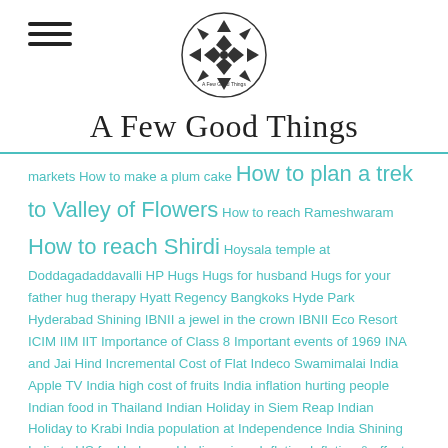A Few Good Things
markets How to make a plum cake How to plan a trek to Valley of Flowers How to reach Rameshwaram How to reach Shirdi Hoysala temple at Doddagadaddavalli HP Hugs Hugs for husband Hugs for your father hug therapy Hyatt Regency Bangkoks Hyde Park Hyderabad Shining IBNII a jewel in the crown IBNII Eco Resort ICIM IIM IIT Importance of Class 8 Important events of 1969 INA and Jai Hind Incremental Cost of Flat Indeco Swamimalai India Apple TV India high cost of fruits India inflation hurting people Indian food in Thailand Indian Holiday in Siem Reap Indian Holiday to Krabi India population at Independence India Shining India to US for Undergrad India unique Inflation Inflation & effect on retirement Inflation in India Infosys Inheritance Inheritance for Kids Innovation Interesting facts about Bangalore Inter Office Introduction to Gayatri Mantra Introduction to Vipassana 10 day course Intro to Rudram Intrusive Marketing Investment idea Irritating Marketing Is Antarganga trek safe Is Dabur Honey Pure Isha Isha sacred walks Kailash Trip Is Khoya safe during Diwali Is multi brand good for India Is petrol p[rice actually delicensed Is Sachin the best Is the world a better